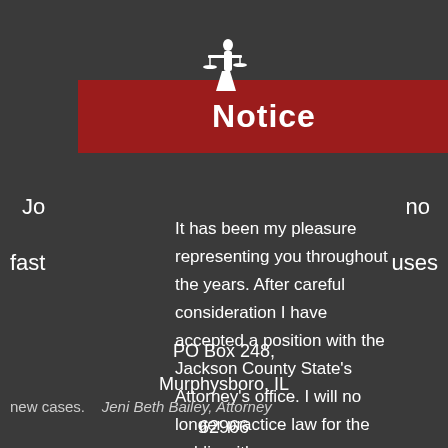[Figure (illustration): White silhouette icon of Lady Justice holding scales, on dark background]
Notice
Jo
no
fast
uses
It has been my pleasure representing you throughout the years. After careful consideration I have accepted a position with the Jackson County State's Attorney's office. I will no longer practice law for the public with
new cases. Jeni Beth Bailey, Attorney
PO Box 248,
Murphysboro, IL
62966